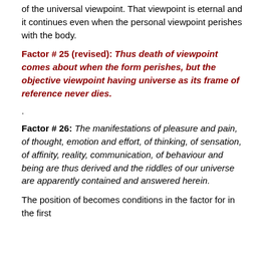of the universal viewpoint. That viewpoint is eternal and it continues even when the personal viewpoint perishes with the body.
Factor # 25 (revised): Thus death of viewpoint comes about when the form perishes, but the objective viewpoint having universe as its frame of reference never dies.
.
Factor # 26: The manifestations of pleasure and pain, of thought, emotion and effort, of thinking, of sensation, of affinity, reality, communication, of behaviour and being are thus derived and the riddles of our universe are apparently contained and answered herein.
The position of becomes conditions in the factor for in the first